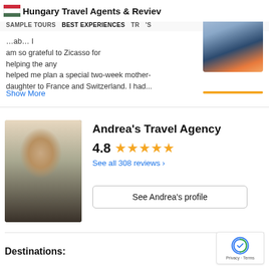Hungary Travel Agents & Reviews
SAMPLE TOURS   BEST EXPERIENCES   TR...'S
...ab... I am so grateful to Zicasso for helping the any helped me plan a special two-week mother-daughter to France and Switzerland. I had...
Show More
[Figure (photo): Mountain landscape photo with orange/pink sky at sunset]
Andrea's Travel Agency
4.8 ★★★★★
See all 308 reviews ›
[Figure (photo): Photo of Andrea, a woman with brown curly hair wearing a black shirt, sitting with a laptop outdoors]
See Andrea's profile
Destinations:
[Figure (logo): Google reCAPTCHA badge with Privacy and Terms text]